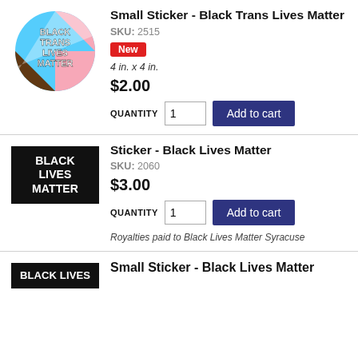[Figure (illustration): Circular sticker with Black Trans Lives Matter text and trans pride flag colors (pink, blue, brown)]
Small Sticker - Black Trans Lives Matter
SKU: 2515
New
4 in. x 4 in.
$2.00
QUANTITY 1 Add to cart
[Figure (illustration): Black rectangular sticker with white text: BLACK LIVES MATTER]
Sticker - Black Lives Matter
SKU: 2060
$3.00
QUANTITY 1 Add to cart
Royalties paid to Black Lives Matter Syracuse
[Figure (illustration): Black rectangular sticker with white text: BLACK LIVES (partial view)]
Small Sticker - Black Lives Matter